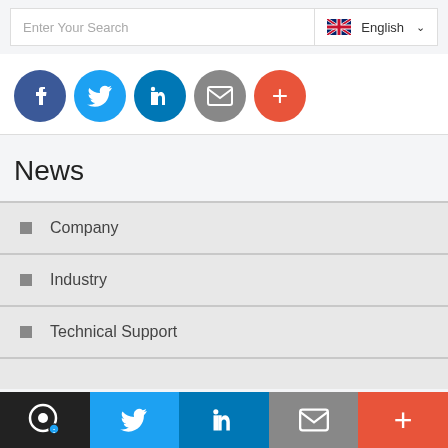[Figure (screenshot): Search bar with 'Enter Your Search' placeholder and English language selector with UK flag and chevron]
[Figure (infographic): Row of social media share buttons: Facebook (dark blue), Twitter (light blue), LinkedIn (blue), Email (gray), More (orange-red)]
News
Company
Industry
Technical Support
[Figure (infographic): Bottom navigation bar with 5 segments: dark circle icon, Twitter bird (blue), LinkedIn (blue), email envelope (gray), plus sign (red-orange)]